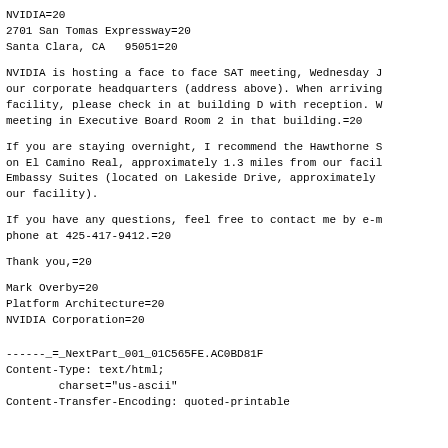NVIDIA=20
2701 San Tomas Expressway=20
Santa Clara, CA   95051=20
NVIDIA is hosting a face to face SAT meeting, Wednesday J
our corporate headquarters (address above). When arriving
facility, please check in at building D with reception. W
meeting in Executive Board Room 2 in that building.=20
If you are staying overnight, I recommend the Hawthorne S
on El Camino Real, approximately 1.3 miles from our facil
Embassy Suites (located on Lakeside Drive, approximately
our facility).
If you have any questions, feel free to contact me by e-m
phone at 425-417-9412.=20
Thank you,=20
Mark Overby=20
Platform Architecture=20
NVIDIA Corporation=20
------_=_NextPart_001_01C565FE.AC0BD81F
Content-Type: text/html;
        charset="us-ascii"
Content-Transfer-Encoding: quoted-printable